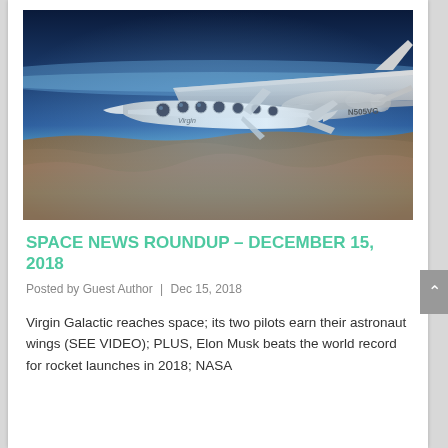[Figure (photo): Photo of Virgin Galactic spacecraft (SpaceShipTwo) attached to its carrier aircraft WhiteKnightTwo, photographed high in the atmosphere with the Earth's curvature and blue sky visible. The spacecraft is white with circular windows and polka-dot-style markings. Registration N505VG partially visible on the carrier aircraft tail.]
SPACE NEWS ROUNDUP – DECEMBER 15, 2018
Posted by Guest Author | Dec 15, 2018
Virgin Galactic reaches space; its two pilots earn their astronaut wings (SEE VIDEO); PLUS, Elon Musk beats the world record for rocket launches in 2018; NASA